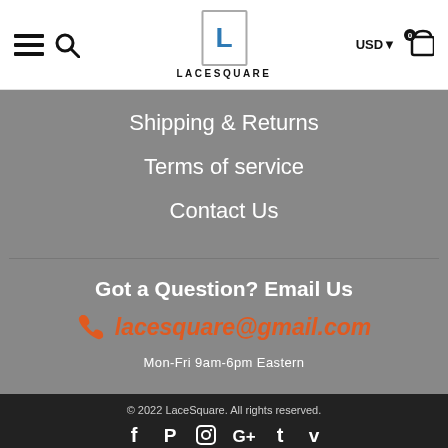LACESQUARE — USD — Cart 0
Shipping & Returns
Terms of service
Contact Us
Got a Question? Email Us
lacesquare@gmail.com
Mon-Fri 9am-6pm Eastern
© 2022 LaceSquare. All rights reserved.
[Figure (other): Social media icons: Facebook, Pinterest, Instagram, Google+, Tumblr, Vimeo]